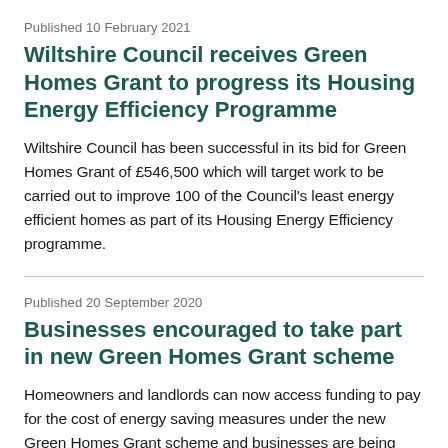Published 10 February 2021
Wiltshire Council receives Green Homes Grant to progress its Housing Energy Efficiency Programme
Wiltshire Council has been successful in its bid for Green Homes Grant of £546,500 which will target work to be carried out to improve 100 of the Council's least energy efficient homes as part of its Housing Energy Efficiency programme.
Published 20 September 2020
Businesses encouraged to take part in new Green Homes Grant scheme
Homeowners and landlords can now access funding to pay for the cost of energy saving measures under the new Green Homes Grant scheme and businesses are being encouraged to register their services.